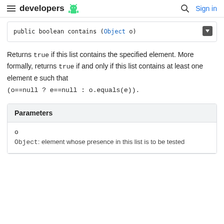developers (Android logo) | search | Sign in
public boolean contains (Object o)
Returns true if this list contains the specified element. More formally, returns true if and only if this list contains at least one element e such that (o==null ? e==null : o.equals(e)).
| Parameters |
| --- |
| o | Object: element whose presence in this list is to be tested |